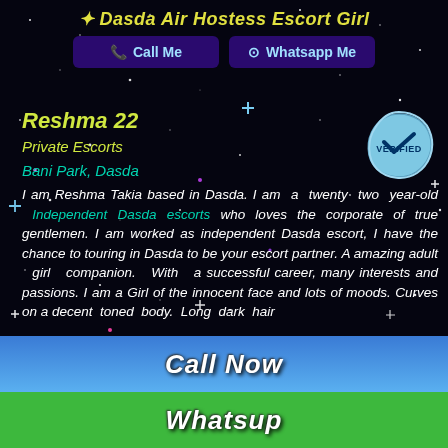✦ Dasda Air Hostess Escort Girl
Call Me | Whatsapp Me
Reshma 22
Private Escorts
Bani Park, Dasda
I am Reshma Takia based in Dasda. I am a twenty two year-old Independent Dasda escorts who loves the corporate of true gentlemen. I am worked as independent Dasda escort, I have the chance to touring in Dasda to be your escort partner. A amazing adult girl companion. With a successful career, many interests and passions. I am a Girl of the innocent face and lots of moods. Curves on a decent toned body. Long dark hair
Call Now
Whatsup